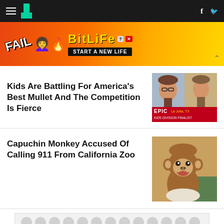HuffPost navigation bar with hamburger menu, logo, Facebook and Twitter icons
[Figure (screenshot): BitLife advertisement banner: FAIL text with cartoon character, BitLife logo, START A NEW LIFE tagline]
Kids Are Battling For America's Best Mullet And The Competition Is Fierce
[Figure (photo): Two kids with mullet hairstyles shown in split screen with EPIC Kids Division Finalist banner]
Capuchin Monkey Accused Of Calling 911 From California Zoo
[Figure (photo): Close-up photo of a capuchin monkey being held]
[Figure (screenshot): Grey dotted advertisement placeholder at bottom of page]